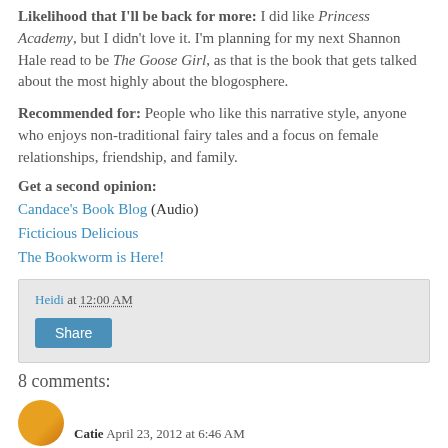Likelihood that I'll be back for more: I did like Princess Academy, but I didn't love it. I'm planning for my next Shannon Hale read to be The Goose Girl, as that is the book that gets talked about the most highly about the blogosphere.
Recommended for: People who like this narrative style, anyone who enjoys non-traditional fairy tales and a focus on female relationships, friendship, and family.
Get a second opinion:
Candace's Book Blog (Audio)
Ficticious Delicious
The Bookworm is Here!
Heidi at 12:00 AM
Share
8 comments:
Catie  April 23, 2012 at 6:46 AM